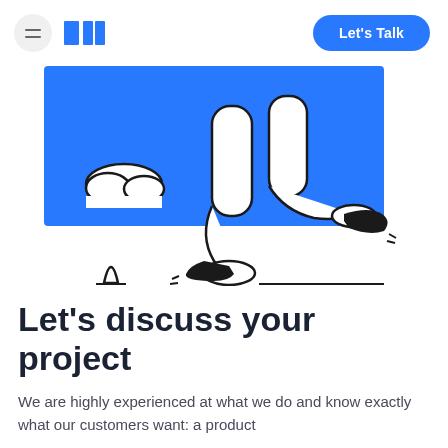Let's Talk
[Figure (illustration): Walking figure illustration with blue background rectangle and cloud, showing legs walking, with black shoes, and a small beacon/marker shape in the foreground]
Let's discuss your project
We are highly experienced at what we do and know exactly what our customers want: a product